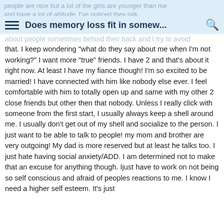Does memory loss fit in somew...
people are nice but a lot of the girls are younger than me and have a lot of attitude. I've noticed they talk about people sometimes behind their back and I try to avoid that. I keep wondering "what do they say about me when I'm not working?" I want more "true" friends. I have 2 and that's about it right now. At least I have my fiance though! I'm so excited to be married! I have connected with him like nobody else ever. I feel comfortable with him to totally open up and same with my other 2 close friends but other then that nobody. Unless I really click with someone from the first start, I usually always keep a shell around me. I usually don't get out of my shell and socialize to the person. I just want to be able to talk to people! my mom and brother are very outgoing! My dad is more reserved but at least he talks too. I just hate having social anxiety/ADD. I am determined not to make that an excuse for anything though. Ijust have to work on not being so self conscious and afraid of peoples reactions to me. I know I need a higher self esteem. It's just